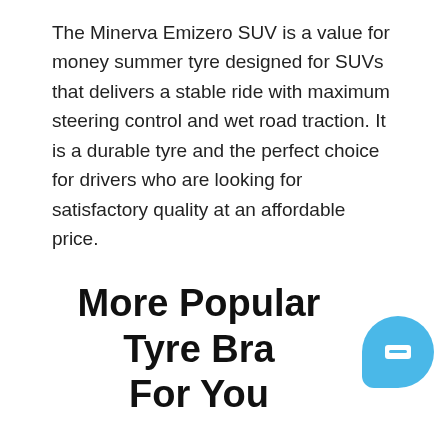The Minerva Emizero SUV is a value for money summer tyre designed for SUVs that delivers a stable ride with maximum steering control and wet road traction. It is a durable tyre and the perfect choice for drivers who are looking for satisfactory quality at an affordable price.
More Popular Tyre Brands For You